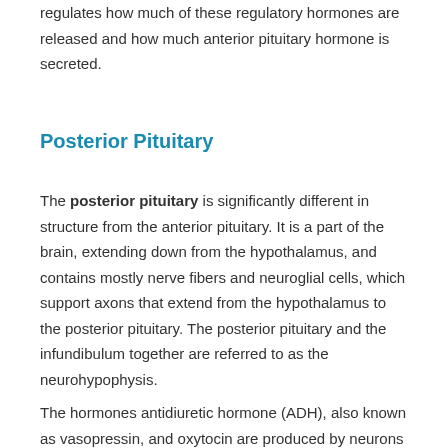regulates how much of these regulatory hormones are released and how much anterior pituitary hormone is secreted.
Posterior Pituitary
The posterior pituitary is significantly different in structure from the anterior pituitary. It is a part of the brain, extending down from the hypothalamus, and contains mostly nerve fibers and neuroglial cells, which support axons that extend from the hypothalamus to the posterior pituitary. The posterior pituitary and the infundibulum together are referred to as the neurohypophysis.
The hormones antidiuretic hormone (ADH), also known as vasopressin, and oxytocin are produced by neurons